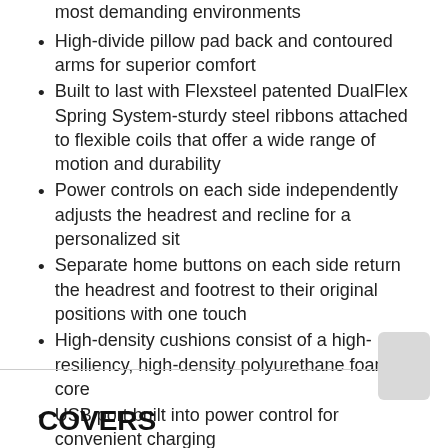most demanding environments
High-divide pillow pad back and contoured arms for superior comfort
Built to last with Flexsteel patented DualFlex Spring System-sturdy steel ribbons attached to flexible coils that offer a wide range of motion and durability
Power controls on each side independently adjusts the headrest and recline for a personalized sit
Separate home buttons on each side return the headrest and footrest to their original positions with one touch
High-density cushions consist of a high-resiliency, high-density polyurethane foam core
USB port built into power control for convenient charging
COVERS